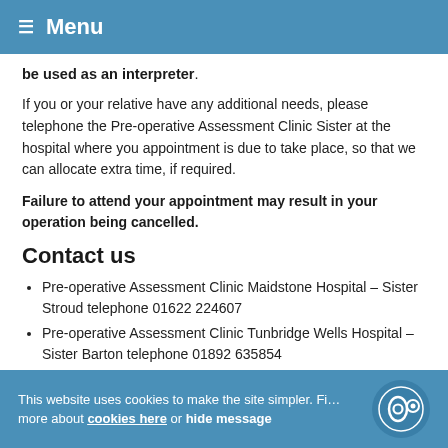≡ Menu
be used as an interpreter.
If you or your relative have any additional needs, please telephone the Pre-operative Assessment Clinic Sister at the hospital where you appointment is due to take place, so that we can allocate extra time, if required.
Failure to attend your appointment may result in your operation being cancelled.
Contact us
Pre-operative Assessment Clinic Maidstone Hospital – Sister Stroud telephone 01622 224607
Pre-operative Assessment Clinic Tunbridge Wells Hospital – Sister Barton telephone 01892 635854
Lead Practitioner for Pre-operative Assessment Clinic – Sister Staples 01622 224604
This website uses cookies to make the site simpler. Find more about cookies here or hide message